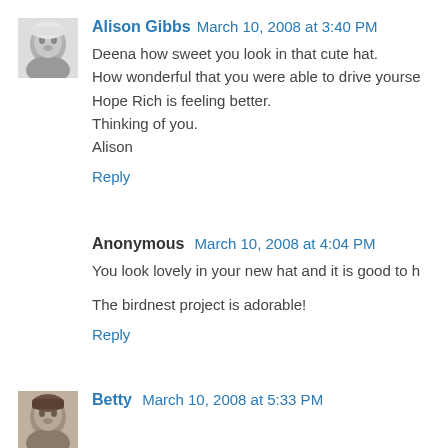[Figure (photo): Black and white avatar photo of Alison Gibbs, a woman with light hair]
Alison Gibbs March 10, 2008 at 3:40 PM
Deena how sweet you look in that cute hat. How wonderful that you were able to drive yourse Hope Rich is feeling better. Thinking of you. Alison
Reply
Anonymous March 10, 2008 at 4:04 PM
You look lovely in your new hat and it is good to h
The birdnest project is adorable!
Reply
[Figure (photo): Small avatar photo of Betty]
Betty March 10, 2008 at 5:33 PM